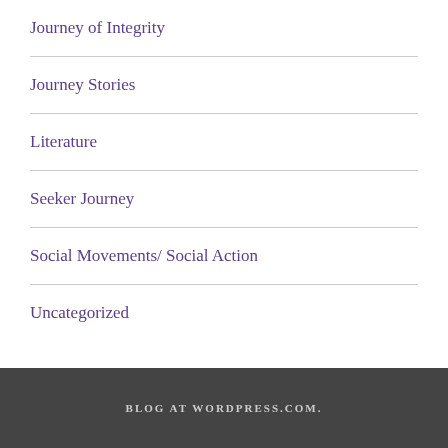Journey of Integrity
Journey Stories
Literature
Seeker Journey
Social Movements/ Social Action
Uncategorized
BLOG AT WORDPRESS.COM.